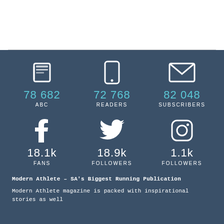[Figure (infographic): Dark blue-grey panel with three icons (book/magazine, phone, envelope) above statistics: 78 682 ABC, 72 768 READERS, 82 048 SUBSCRIBERS; and three social media icons (Facebook, Twitter, Instagram) above: 18.1k FANS, 18.9k FOLLOWERS, 1.1k FOLLOWERS]
Modern Athlete – SA's Biggest Running Publication
Modern Athlete magazine is packed with inspirational stories as well